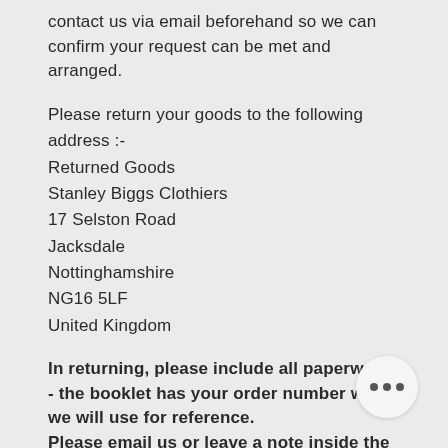contact us via email beforehand so we can confirm your request can be met and arranged.
Please return your goods to the following address :-
Returned Goods
Stanley Biggs Clothiers
17 Selston Road
Jacksdale
Nottinghamshire
NG16 5LF
United Kingdom
In returning, please include all paperwork - the booklet has your order number which we will use for reference. Please email us or leave a note inside the parcel with instructions on how you would like to proceed ie. exchange, refund etc
On receiving the item, we will refund your purchase (excluding postage) within working days.